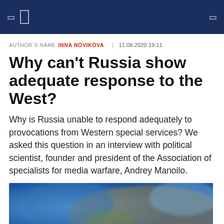AUTHOR'S NAME INNA NOVIKOVA   11.08.2020 19:11
Why can't Russia show adequate response to the West?
Why is Russia unable to respond adequately to provocations from Western special services? We asked this question in an interview with political scientist, founder and president of the Association of specialists for media warfare, Andrey Manoilo.
[Figure (photo): Blurred photo showing a globe or map with blue tones and earth/land colors]